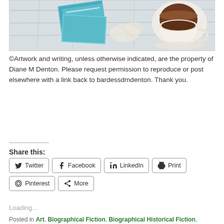[Figure (photo): Photo of books with teal covers and a white cup of tea on a white wooden surface with lace doily]
©Artwork and writing, unless otherwise indicated, are the property of Diane M Denton. Please request permission to reproduce or post elsewhere with a link back to bardessdmdenton. Thank you.
Share this:
Twitter Facebook LinkedIn Print Pinterest More
Loading...
Posted in Art, Biographical Fiction, Biographical Historical Fiction, Classic Women Writers, Excerpt, Famous Deaths, Historical Fiction, Literary Fiction,